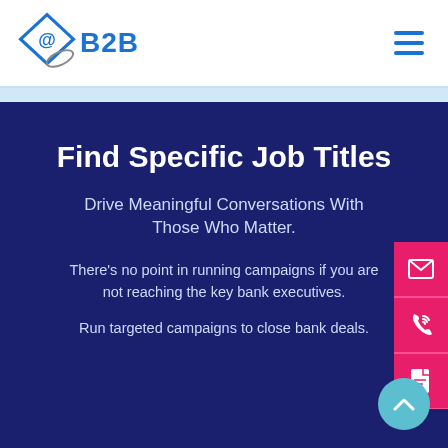@B2B logo and navigation hamburger menu
Find Specific Job Titles
Drive Meaningful Conversations With Those Who Matter.
There’s no point in running campaigns if you are not reaching the key bank executives.
Run targeted campaigns to close bank deals.